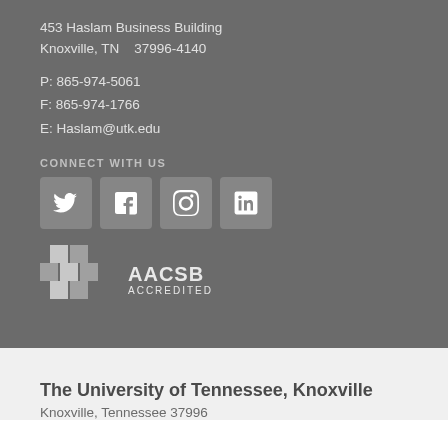453 Haslam Business Building
Knoxville, TN   37996-4140
P: 865-974-5061
F: 865-974-1766
E: Haslam@utk.edu
CONNECT WITH US
[Figure (other): Social media icons: Twitter, Facebook, Instagram, LinkedIn]
[Figure (logo): AACSB Accredited logo with checkered diamond icon]
The University of Tennessee, Knoxville
Knoxville, Tennessee 37996